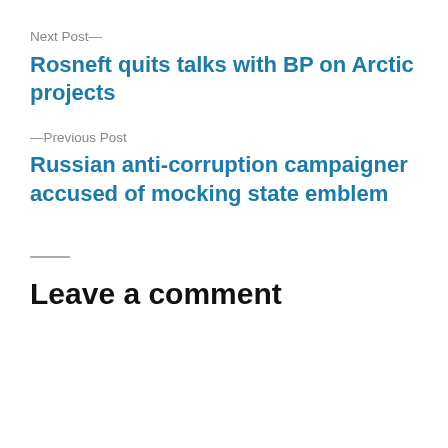Next Post—
Rosneft quits talks with BP on Arctic projects
—Previous Post
Russian anti-corruption campaigner accused of mocking state emblem
Leave a comment